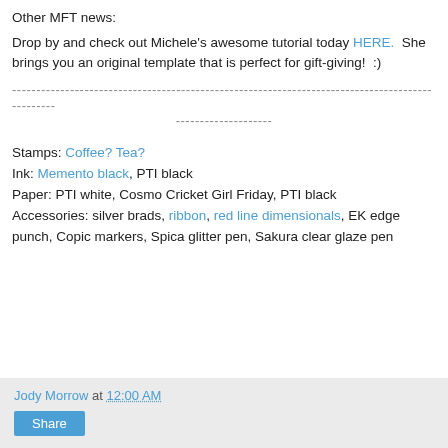Other MFT news:
Drop by and check out Michele's awesome tutorial today HERE.  She brings you an original template that is perfect for gift-giving!  :)
------------------------------------------------------------------------------------------------
--------------------
Stamps: Coffee? Tea?
Ink: Memento black, PTI black
Paper: PTI white, Cosmo Cricket Girl Friday, PTI black
Accessories: silver brads, ribbon, red line dimensionals, EK edge punch, Copic markers, Spica glitter pen, Sakura clear glaze pen
Jody Morrow at 12:00 AM
Share